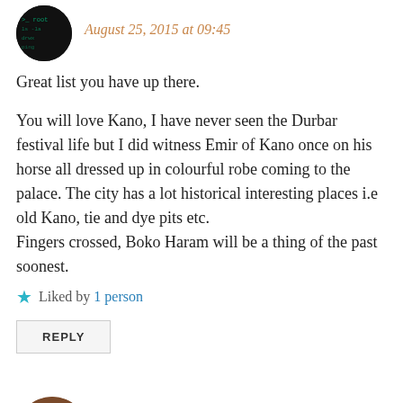[Figure (photo): Circular avatar image showing dark background with green/teal code-like text, top-left corner partially visible]
August 25, 2015 at 09:45
Great list you have up there.
You will love Kano, I have never seen the Durbar festival life but I did witness Emir of Kano once on his horse all dressed up in colourful robe coming to the palace. The city has a lot historical interesting places i.e old Kano, tie and dye pits etc.
Fingers crossed, Boko Haram will be a thing of the past soonest.
★ Liked by 1 person
REPLY
[Figure (photo): Circular avatar of a person with dark skin, profile photo]
ANAELRICH